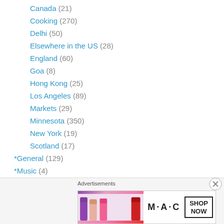Canada (21)
Cooking (270)
Delhi (50)
Elsewhere in the US (28)
England (60)
Goa (8)
Hong Kong (25)
Los Angeles (89)
Markets (29)
Minnesota (350)
New York (19)
Scotland (17)
*General (129)
*Music (4)
*Random (11)
*Sketches & Photos & Reports (37)
[Figure (other): MAC cosmetics advertisement banner with lipsticks and SHOP NOW call to action]